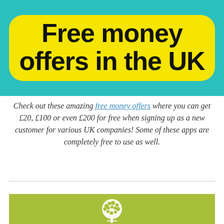[Figure (illustration): Teal/turquoise banner background with a large yellow rounded rectangle containing bold black text reading 'Free money offers in the UK']
Check out these amazing free money offers where you can get £20, £100 or even £200 for free when signing up as a new customer for various UK companies! Some of these apps are completely free to use as well.
[Figure (logo): Olive/yellow-green banner with a white tree logo icon at the bottom of the page]